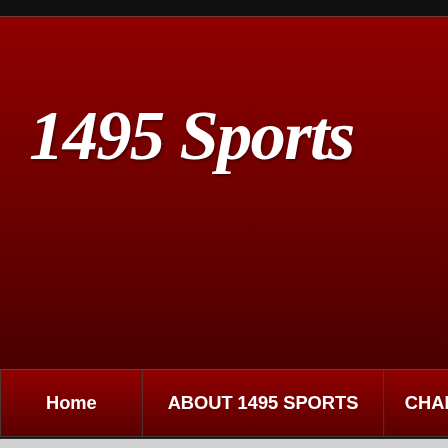1495 Sports
Home | ABOUT 1495 SPORTS | CHAR
Browsing: › Home › Archives
Tag Archive | Tina Charles
Washington Mystics star Tina Charles Nam